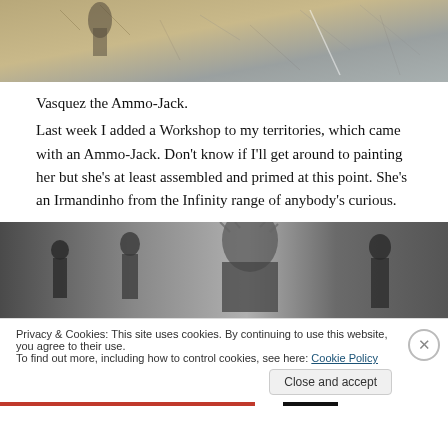[Figure (photo): Top portion of a painted miniature scene showing a figure and sandy/earthy terrain with sketch-like markings.]
Vasquez the Ammo-Jack.
Last week I added a Workshop to my territories, which came with an Ammo-Jack. Don't know if I'll get around to painting her but she's at least assembled and primed at this point. She's an Irmandinho from the Infinity range of anybody's curious.
[Figure (photo): A collection of assembled and primed dark miniature figurines, including a large detailed figure in the center.]
Privacy & Cookies: This site uses cookies. By continuing to use this website, you agree to their use.
To find out more, including how to control cookies, see here: Cookie Policy
Close and accept